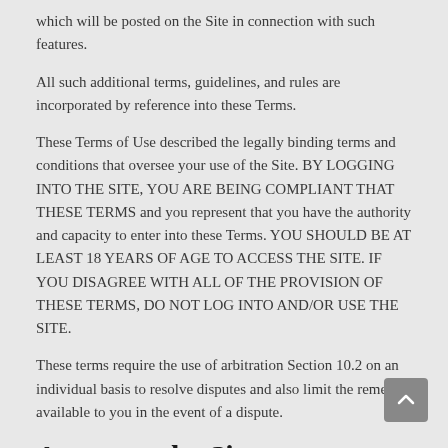which will be posted on the Site in connection with such features.
All such additional terms, guidelines, and rules are incorporated by reference into these Terms.
These Terms of Use described the legally binding terms and conditions that oversee your use of the Site. BY LOGGING INTO THE SITE, YOU ARE BEING COMPLIANT THAT THESE TERMS and you represent that you have the authority and capacity to enter into these Terms. YOU SHOULD BE AT LEAST 18 YEARS OF AGE TO ACCESS THE SITE. IF YOU DISAGREE WITH ALL OF THE PROVISION OF THESE TERMS, DO NOT LOG INTO AND/OR USE THE SITE.
These terms require the use of arbitration Section 10.2 on an individual basis to resolve disputes and also limit the remedies available to you in the event of a dispute.
Access to the Site
Subject to these Terms. Company grants you a non-transferable,